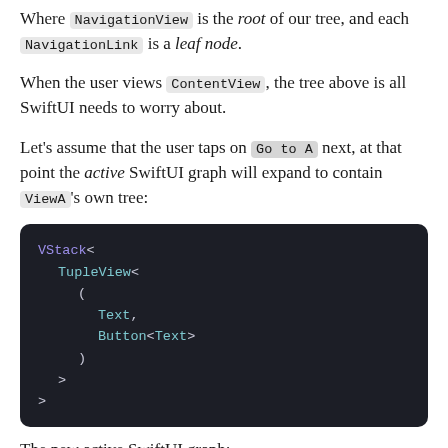Where NavigationView is the root of our tree, and each NavigationLink is a leaf node.
When the user views ContentView, the tree above is all SwiftUI needs to worry about.
Let's assume that the user taps on Go to A next, at that point the active SwiftUI graph will expand to contain ViewA's own tree:
[Figure (screenshot): Dark code block showing SwiftUI view tree: VStack< TupleView< ( Text, Button<Text> ) > >]
The new active SwiftUI graph: